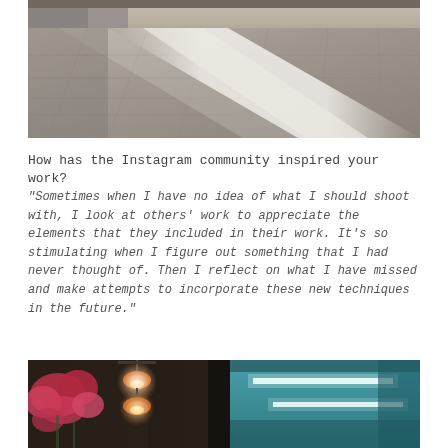[Figure (photo): Indoor photo showing sunlight casting white diagonal stripe shadows across stone/concrete tile flooring in a building interior]
How has the Instagram community inspired your work?
“Sometimes when I have no idea of what I should shoot with, I look at others’ work to appreciate the elements that they included in their work. It’s so stimulating when I figure out something that I had never thought of. Then I reflect on what I have missed and make attempts to incorporate these new techniques in the future.”
[Figure (photo): Interior scene showing hanging orange pendant lights on the left side with pink flowers, and a teal/turquoise ceiling with fluorescent strip lights on the right side, divided by a dark pillar]